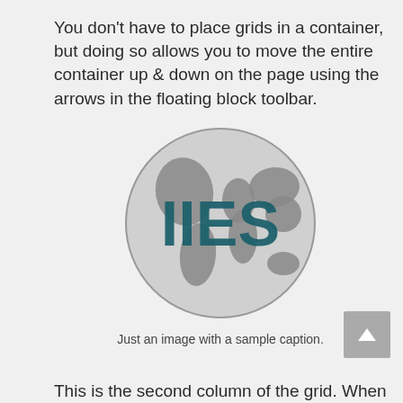You don't have to place grids in a container, but doing so allows you to move the entire container up & down on the page using the arrows in the floating block toolbar.
[Figure (logo): IIES logo: a grey globe with the text 'IIES' in dark teal overlaid on the center]
Just an image with a sample caption.
This is the second column of the grid. When